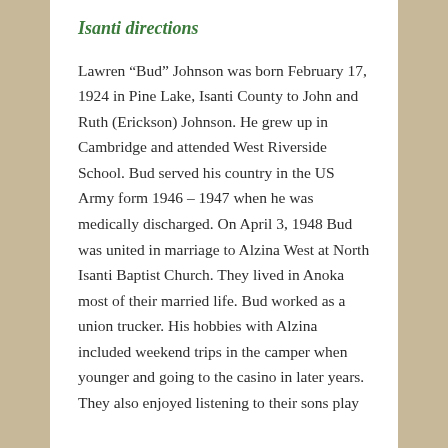Isanti directions
Lawren “Bud” Johnson was born February 17, 1924 in Pine Lake, Isanti County to John and Ruth (Erickson) Johnson. He grew up in Cambridge and attended West Riverside School. Bud served his country in the US Army form 1946 – 1947 when he was medically discharged. On April 3, 1948 Bud was united in marriage to Alzina West at North Isanti Baptist Church. They lived in Anoka most of their married life. Bud worked as a union trucker. His hobbies with Alzina included weekend trips in the camper when younger and going to the casino in later years. They also enjoyed listening to their sons play